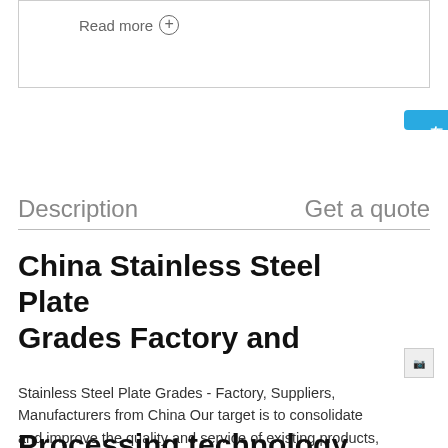Read more ⊕
[Figure (other): Blue Chinese chat/consultation button on the right side reading 在线咨询]
Description    Get a quote
China Stainless Steel Plate Grades Factory and
Stainless Steel Plate Grades - Factory, Suppliers, Manufacturers from China Our target is to consolidate and improve the quality and service of existing products, meanwhile constantly develop new products to meet different customers' demands for Stainless Steel Plate
Processing technology...